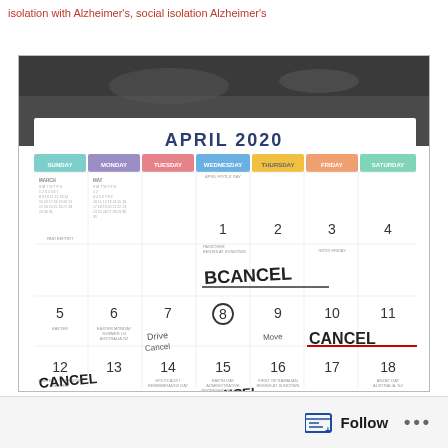isolation with Alzheimer's, social isolation Alzheimer's
[Figure (photo): Photo of an April 2020 calendar lying on a dark surface. The calendar shows days 1-18 of April, with the word CANCEL written in large handwriting across multiple dates (April 1, April 10-11, April 12, April 15, and others). Day 8 is circled. Various events are printed on the calendar including April Fools Day, Passover, Good Friday, Easter Orthodox Easter, ANZAC Day. Small mini-calendars for March and May appear in the Sunday column.]
Follow ...